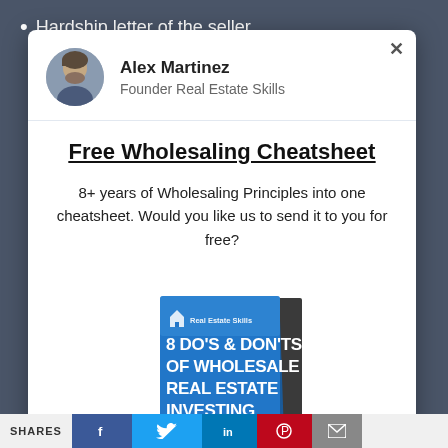Hardship letter of the seller
[Figure (screenshot): Modal popup with Alex Martinez profile, Free Wholesaling Cheatsheet offer, and book cover image for '8 Do's & Don'ts of Wholesale Real Estate Investing' by Real Estate Skills]
SHARES